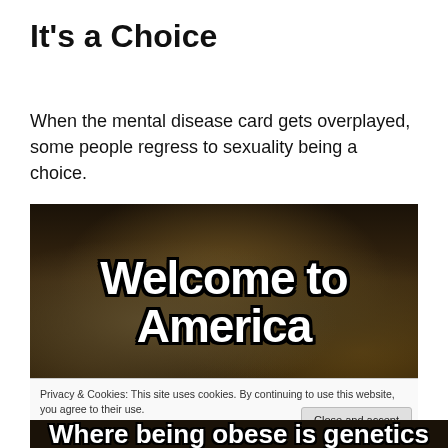It’s a Choice
When the mental disease card gets overplayed, some people regress to sexuality being a choice.
[Figure (photo): Meme image with bold white text reading 'Welcome to America' over a dark crowd background, suggesting a TV show or event scene.]
Privacy & Cookies: This site uses cookies. By continuing to use this website, you agree to their use.
To find out more, including how to control cookies, see here: Cookie Policy
[Figure (photo): Partial bottom strip of another meme image with white bold text reading 'Where being obese is genetics']